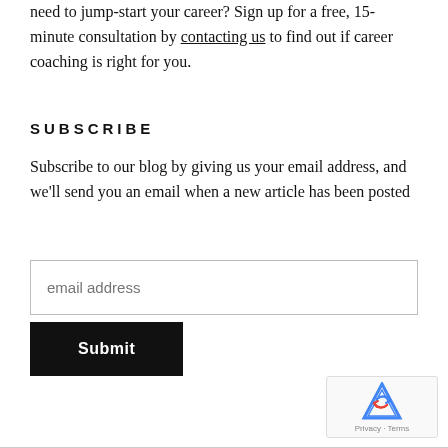need to jump-start your career? Sign up for a free, 15-minute consultation by contacting us to find out if career coaching is right for you.
SUBSCRIBE
Subscribe to our blog by giving us your email address, and we'll send you an email when a new article has been posted
[Figure (other): Email address input field with placeholder text 'email address' and a black Submit button below it]
[Figure (other): reCAPTCHA badge with Google logo and Privacy - Terms text]